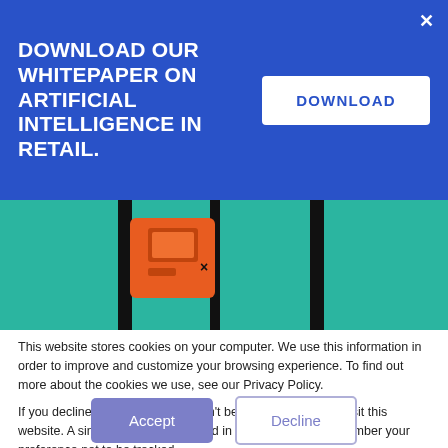DOWNLOAD OUR WHITEPAPER ON ARTIFICIAL INTELLIGENCE IN RETAIL.
[Figure (illustration): Colorful retail/AI illustration on teal background showing an orange device/machine and a black circle with stylized chair/table icon]
This website stores cookies on your computer. We use this information in order to improve and customize your browsing experience. To find out more about the cookies we use, see our Privacy Policy.
If you decline, your information won't be tracked when you visit this website. A single cookie will be used in your browser to remember your preference not to be tracked.
Accept
Decline